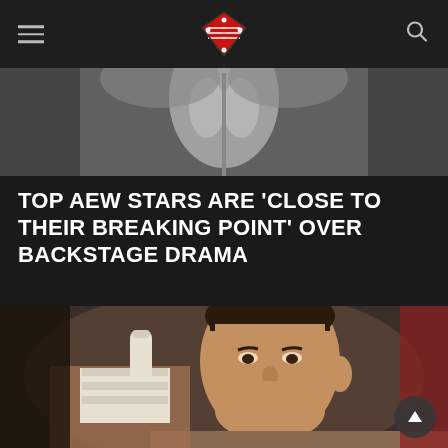Wrestling news website header with logo and navigation
[Figure (photo): Black and white photo of a wrestler's torso/midsection from behind or front, grayscale gym backdrop]
TOP AEW STARS ARE 'CLOSE TO THEIR BREAKING POINT' OVER BACKSTAGE DRAMA
[Figure (photo): Close-up photo of a young male wrestling personality with dark hair, raising a bandaged finger, wearing a plaid shirt, looking intensely at camera]